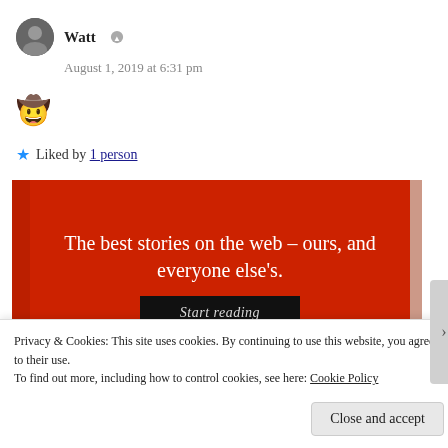Watt
August 1, 2019 at 6:31 pm
🤠
★ Liked by 1 person
[Figure (infographic): Red advertisement block reading 'The best stories on the web – ours, and everyone else's.' with a black 'Start reading' button]
Privacy & Cookies: This site uses cookies. By continuing to use this website, you agree to their use. To find out more, including how to control cookies, see here: Cookie Policy
Close and accept